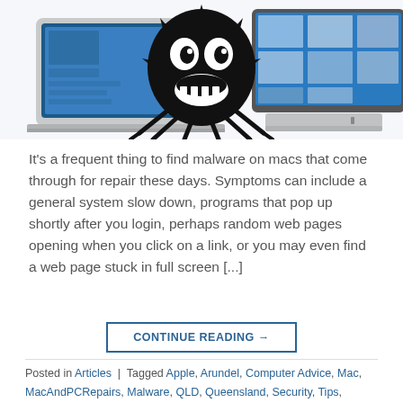[Figure (illustration): Illustration showing Mac computers (laptops and a Mac mini) with a cartoon monster/malware creature with large grinning teeth standing between them, representing malware on Mac computers.]
It's a frequent thing to find malware on macs that come through for repair these days. Symptoms can include a general system slow down, programs that pop up shortly after you login, perhaps random web pages opening when you click on a link, or you may even find a web page stuck in full screen [...]
CONTINUE READING →
Posted in Articles | Tagged Apple, Arundel, Computer Advice, Mac, MacAndPCRepairs, Malware, QLD, Queensland, Security, Tips, Troubleshoot   Leave a comment